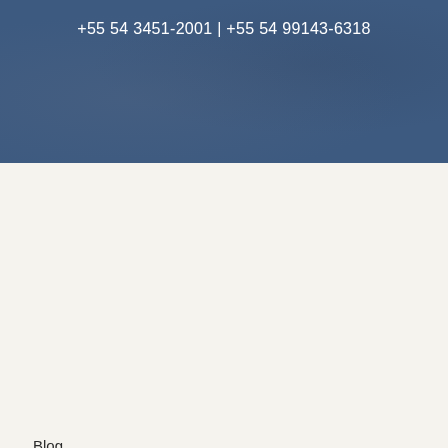+55 54 3451-2001 | +55 54 99143-6318
Blog
Brazilian Design
Contemporary Design
Furniture Design
Product